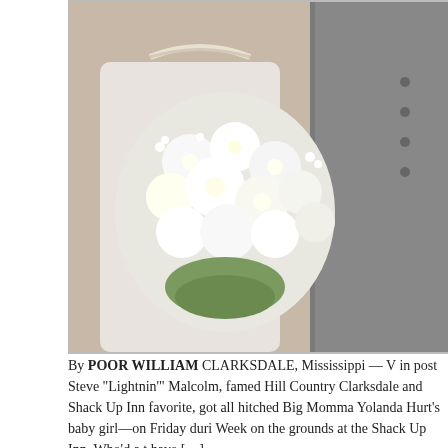[Figure (photo): Wedding photo showing a woman in white dress holding a large white floral bouquet, standing next to a man in a gray suit, photographed from chest up against a wooden background.]
By POOR WILLIAM CLARKSDALE, Mississippi — V in post Steve “Lightnin’” Malcolm, famed Hill Country Clarksdale and Shack Up Inn favorite, got all hitched Big Momma Yolanda Hurt’s baby girl—on Friday duri Week on the grounds at the Shack Up Inn. Who’d a t have […]
FILED UNDER: FRONT PORCH BLUES & NEWS, YOU CAN'T GET THIS SHI
TAGGED WITH: CLARKSDALE MISSISSIPPI, DELTA BOHEMIAN, GUEST H
JUKE JOINT FESTIVAL, LIGHTNIN' MALCOLM, NEW ROXY, NORTH MISSISSIPP
STEVE MALCOLM, STUD WHITE, T MODEL FORD, WEDDING